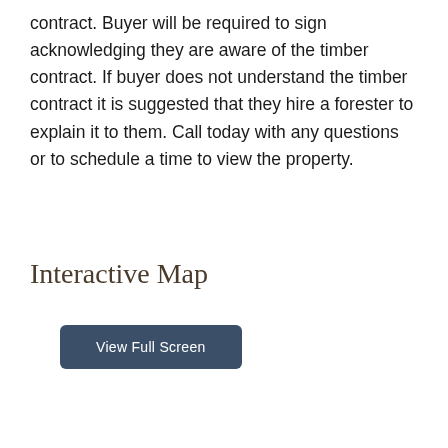contract. Buyer will be required to sign acknowledging they are aware of the timber contract. If buyer does not understand the timber contract it is suggested that they hire a forester to explain it to them. Call today with any questions or to schedule a time to view the property.
Interactive Map
View Full Screen